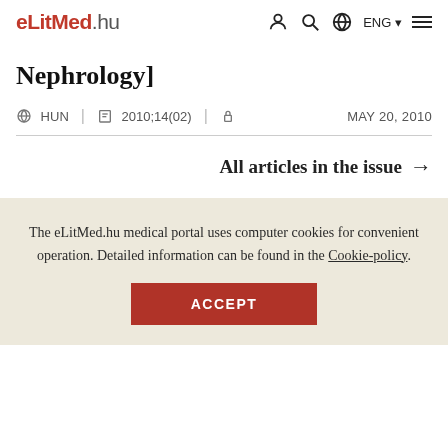eLitMed.hu | ENG
Nephrology]
HUN | 2010;14(02) | MAY 20, 2010
All articles in the issue →
The eLitMed.hu medical portal uses computer cookies for convenient operation. Detailed information can be found in the Cookie-policy.
ACCEPT